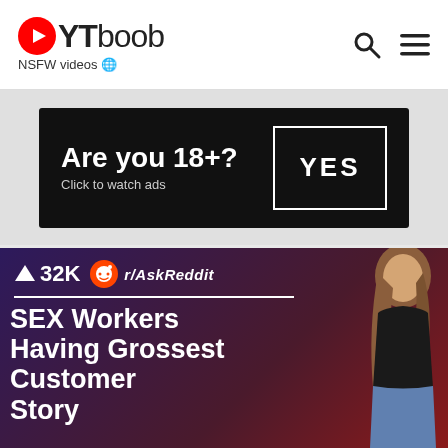YTboob — NSFW videos
[Figure (screenshot): Advertisement banner on black background: 'Are you 18+? Click to watch ads' with a YES button in a white border box]
[Figure (screenshot): Video thumbnail with dark purple-red gradient background. Shows upvote arrow and '32K', Reddit icon and 'r/AskReddit', and title text 'SEX Workers Having Grossest Customer Story' with a woman posing in the right portion.]